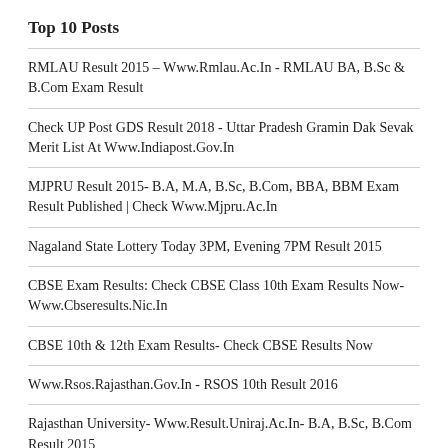Top 10 Posts
RMLAU Result 2015 – Www.Rmlau.Ac.In - RMLAU BA, B.Sc & B.Com Exam Result
Check UP Post GDS Result 2018 - Uttar Pradesh Gramin Dak Sevak Merit List At Www.Indiapost.Gov.In
MJPRU Result 2015- B.A, M.A, B.Sc, B.Com, BBA, BBM Exam Result Published | Check Www.Mjpru.Ac.In
Nagaland State Lottery Today 3PM, Evening 7PM Result 2015
CBSE Exam Results: Check CBSE Class 10th Exam Results Now- Www.Cbseresults.Nic.In
CBSE 10th & 12th Exam Results- Check CBSE Results Now
Www.Rsos.Rajasthan.Gov.In - RSOS 10th Result 2016
Rajasthan University- Www.Result.Uniraj.Ac.In- B.A, B.Sc, B.Com Result 2015